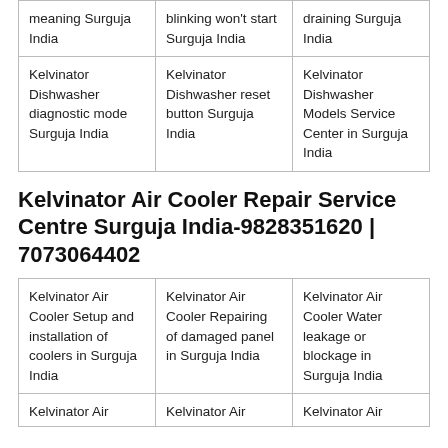| meaning Surguja India | blinking won't start Surguja India | draining Surguja India |
| Kelvinator Dishwasher diagnostic mode Surguja India | Kelvinator Dishwasher reset button Surguja India | Kelvinator Dishwasher Models Service Center in Surguja India |
Kelvinator Air Cooler Repair Service Centre Surguja India-9828351620 | 7073064402
| Kelvinator Air Cooler Setup and installation of coolers in Surguja India | Kelvinator Air Cooler Repairing of damaged panel in Surguja India | Kelvinator Air Cooler Water leakage or blockage in Surguja India |
| Kelvinator Air | Kelvinator Air | Kelvinator Air |